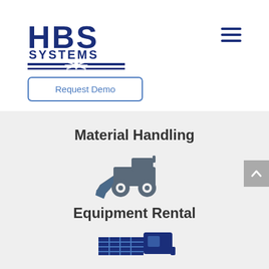[Figure (logo): HBS Systems logo with bold text and decorative horizontal lines]
Request Demo
Material Handling
[Figure (illustration): Skid steer loader icon in dark blue/grey color]
Equipment Rental
[Figure (illustration): Dump truck icon in dark blue color, partially visible at bottom]